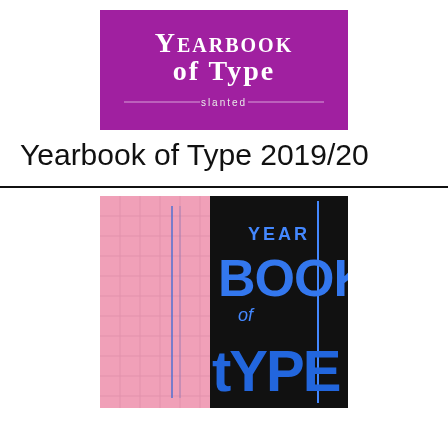[Figure (illustration): Purple/magenta book cover logo with old English blackletter text 'Yearbook of Type' and the word 'slanted' with decorative lines below, on a magenta background]
Yearbook of Type 2019/20
[Figure (photo): Photo of the Yearbook of Type book showing two covers side by side - a pink textured spine on the left and a black cover with large blue 3D text reading 'YEAR BOOK of tYPE' on the right]